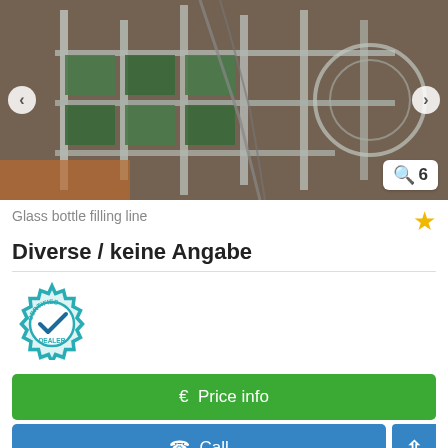[Figure (photo): Industrial glass bottle filling line machinery, aerial/overhead view showing metal frames, conveyor systems, and mechanical equipment in a factory setting.]
Glass bottle filling line
Diverse / keine Angabe
[Figure (logo): Certified Dealer badge - teal gear-shaped badge with checkmark and text CERTIFIED DEALER]
€ Price info
✆ Call
➤ Save search query
6618 km ?